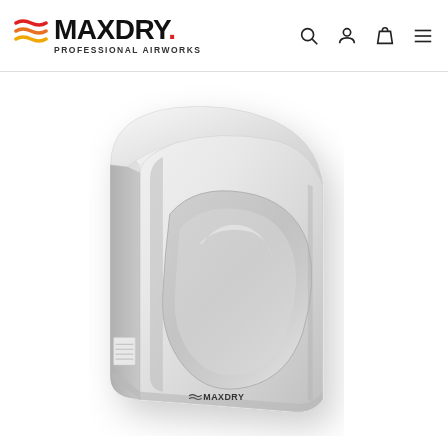MAXDRY. PROFESSIONAL AIRWORKS
[Figure (photo): White hand dryer unit with rounded top housing, silver/pearl finish, curved front panel with ergonomic hand insertion area, MAXDRY logo on front bottom, label sticker on side. Product shown in 3/4 perspective view on white background.]